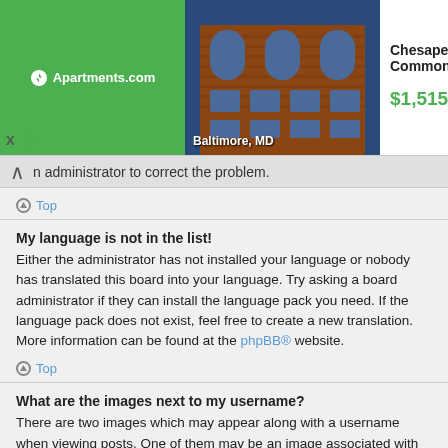[Figure (infographic): Advertisement banner for Apartments.com featuring Chesapeake Commons in Baltimore, MD with a photo of a brick building, price $1,515 and More Info button]
n administrator to correct the problem.
Top
My language is not in the list!
Either the administrator has not installed your language or nobody has translated this board into your language. Try asking a board administrator if they can install the language pack you need. If the language pack does not exist, feel free to create a new translation. More information can be found at the phpBB® website.
Top
What are the images next to my username?
There are two images which may appear along with a username when viewing posts. One of them may be an image associated with your rank, generally in the form of stars, blocks or dots, indicating